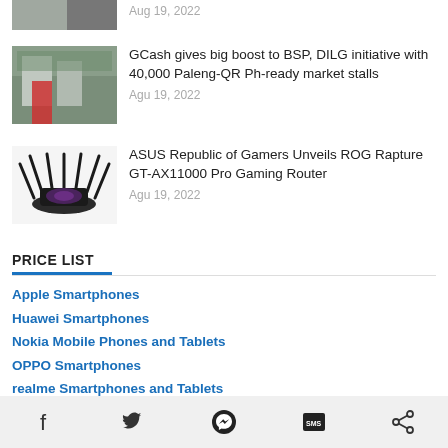[Figure (photo): Partial top image strip showing a cropped photo thumbnail at the top left and a date]
Aug 19, 2022
[Figure (photo): Market stall photo showing a person in red shirt at a market stall]
GCash gives big boost to BSP, DILG initiative with 40,000 Paleng-QR Ph-ready market stalls
Agu 19, 2022
[Figure (photo): ASUS ROG Rapture GT-AX11000 Pro gaming router with multiple antennas on white background]
ASUS Republic of Gamers Unveils ROG Rapture GT-AX11000 Pro Gaming Router
Agu 19, 2022
PRICE LIST
Apple Smartphones
Huawei Smartphones
Nokia Mobile Phones and Tablets
OPPO Smartphones
realme Smartphones and Tablets
Samsung Smartphones and Tablets